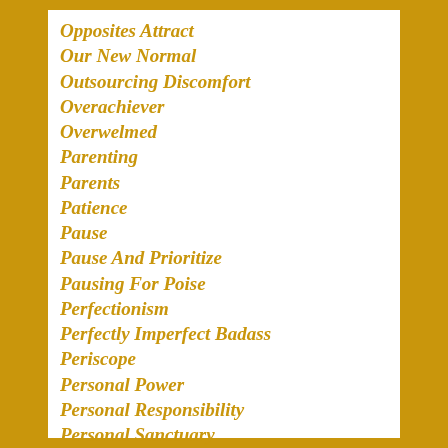Opposites Attract
Our New Normal
Outsourcing Discomfort
Overachiever
Overwelmed
Parenting
Parents
Patience
Pause
Pause And Prioritize
Pausing For Poise
Perfectionism
Perfectly Imperfect Badass
Periscope
Personal Power
Personal Responsibility
Personal Sanctuary
Planting The Seeds Of Hope